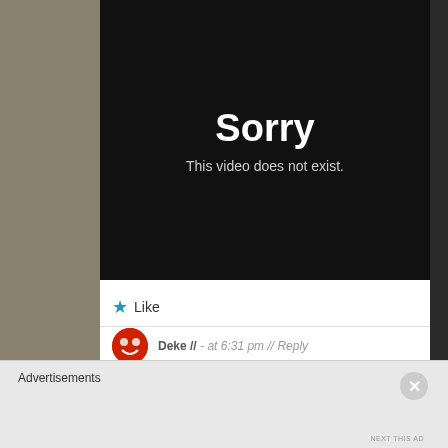[Figure (screenshot): Video player error screen with black background showing 'Sorry' in large white text and 'This video does not exist.' in smaller grey text below]
Like
Deke // - at 6:31 pm // Reply
Advertisements